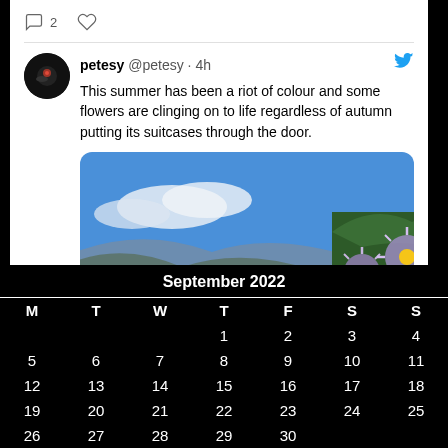[Figure (screenshot): Tweet interaction row with comment bubble icon, count 2, and heart icon]
petesy @petesy · 4h
This summer has been a riot of colour and some flowers are clinging on to life regardless of autumn putting its suitcases through the door.
[Figure (photo): Outdoor scenic photo showing a lake with mountains in the background, trees, and purple aster flowers in the foreground against a blue sky]
September 2022
| M | T | W | T | F | S | S |
| --- | --- | --- | --- | --- | --- | --- |
|  |  |  | 1 | 2 | 3 | 4 |
| 5 | 6 | 7 | 8 | 9 | 10 | 11 |
| 12 | 13 | 14 | 15 | 16 | 17 | 18 |
| 19 | 20 | 21 | 22 | 23 | 24 | 25 |
| 26 | 27 | 28 | 29 | 30 |  |  |